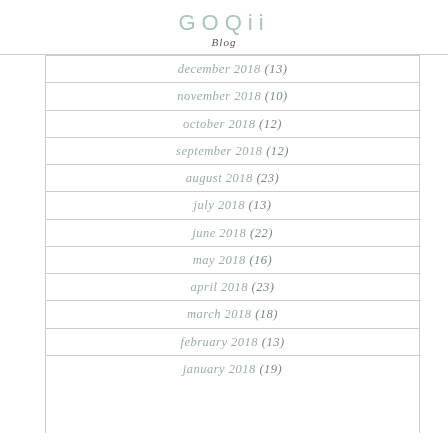GOQii Blog
december 2018 (13)
november 2018 (10)
october 2018 (12)
september 2018 (12)
august 2018 (23)
july 2018 (13)
june 2018 (22)
may 2018 (16)
april 2018 (23)
march 2018 (18)
february 2018 (13)
january 2018 (19)